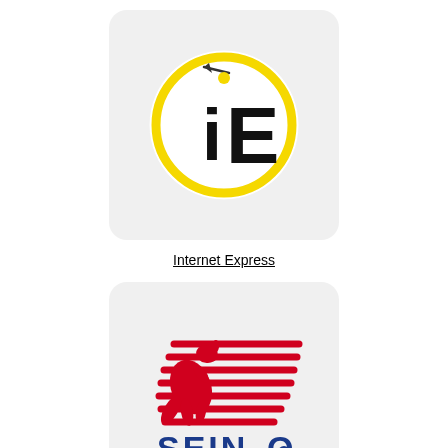[Figure (logo): Internet Express logo: yellow circle with stylized 'iE' letters and arrow, on light gray rounded square background]
Internet Express
[Figure (logo): Seino (Seino Super Express Co., Ltd.) logo: red kangaroo with red speed lines forming a chevron/wing, blue SEINO text, on light gray rounded square background]
Seino (Seino Super Express Co., Ltd.)
[Figure (logo): J&T EXPRESS logo: red J&T Express text with tagline 'Express Your Online Business', on light gray rounded square background]
J&T EXPRESS MALAYSIA